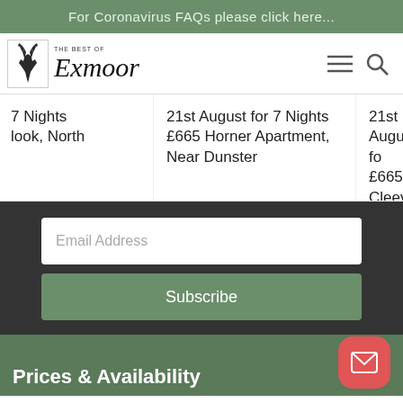For Coronavirus FAQs please click here...
[Figure (logo): The Best of Exmoor logo with deer silhouette and italic script text]
7 Nights
look, North
21st August for 7 Nights
£665 Horner Apartment,
Near Dunster
21st August fo
£665 Cleeve A
Near Dunster
Email Address
Subscribe
Prices & Availability